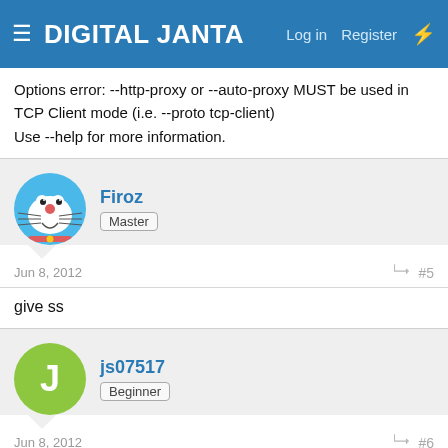DIGITAL JANTA — Log in | Register
Options error: --http-proxy or --auto-proxy MUST be used in TCP Client mode (i.e. --proto tcp-client)
Use --help for more information.
Firoz
Master
Jun 8, 2012   #5
give ss
js07517
Beginner
Jun 8, 2012   #6
getting this error